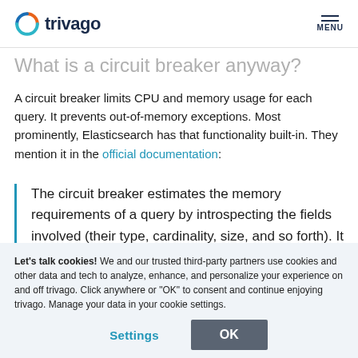trivago  MENU
What is a circuit breaker anyway?
A circuit breaker limits CPU and memory usage for each query. It prevents out-of-memory exceptions. Most prominently, Elasticsearch has that functionality built-in. They mention it in the official documentation:
The circuit breaker estimates the memory requirements of a query by introspecting the fields involved (their type, cardinality, size, and so forth). It then checks to see whether loading the required
Let's talk cookies! We and our trusted third-party partners use cookies and other data and tech to analyze, enhance, and personalize your experience on and off trivago. Click anywhere or “OK” to consent and continue enjoying trivago. Manage your data in your cookie settings.